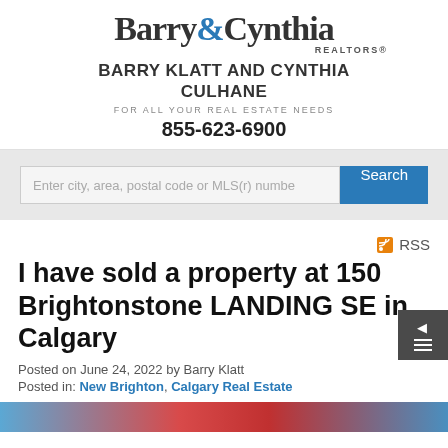Barry & Cynthia REALTORS® BARRY KLATT AND CYNTHIA CULHANE FOR ALL YOUR REAL ESTATE NEEDS 855-623-6900
Enter city, area, postal code or MLS(r) numbe
I have sold a property at 150 Brightonstone LANDING SE in Calgary
Posted on June 24, 2022 by Barry Klatt
Posted in: New Brighton, Calgary Real Estate
[Figure (photo): Partial view of a property photo at the bottom of the page]